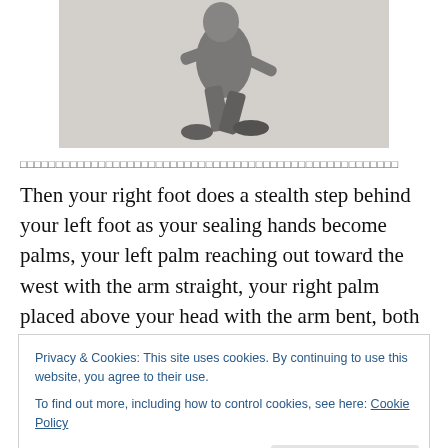[Figure (photo): Black and white photograph of a person performing a martial arts or dance step, showing feet and lower body in motion.]
□□□□□□□□□□□□□□□□□□□□□□□□□□□□□□□□□□□□□□□□□□□□□□□□□□□□□
Then your right foot does a stealth step behind your left foot as your sealing hands become palms, your left palm reaching out toward the west with the arm straight, your right palm placed above your head with the arm bent, both
Privacy & Cookies: This site uses cookies. By continuing to use this website, you agree to their use.
To find out more, including how to control cookies, see here: Cookie Policy
[Figure (photo): Black and white photograph, partial view at bottom of page.]